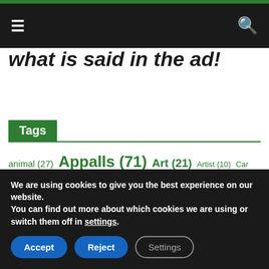≡   🔍
what is said in the ad!
Tags
animal (27) Appalls (71) Art (21) Artist (10) Car (15) Christmas (11) COSMOSS AND UFO (12) crash (13) crisis (20) day (10) Earth (15) Europe (56) family (24) food (26) health (55) History
We are using cookies to give you the best experience on our website.
You can find out more about which cookies we are using or switch them off in settings.
Accept
Reject
Settings